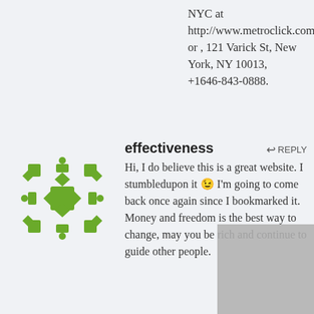NYC at http://www.metroclick.com/ or , 121 Varick St, New York, NY 10013, +1646-843-0888.
effectiveness
Hi, I do believe this is a great website. I stumbledupon it 😉 I'm going to come back once again since I bookmarked it. Money and freedom is the best way to change, may you be rich and continue to guide other people.
SEO Services Company – Ready to Rank Page 1? Contact Sapid Agency
Sapid Agency is a Search Engine Optimization company in New York City that provides SEO Services. Their proprietary SEO strategies help